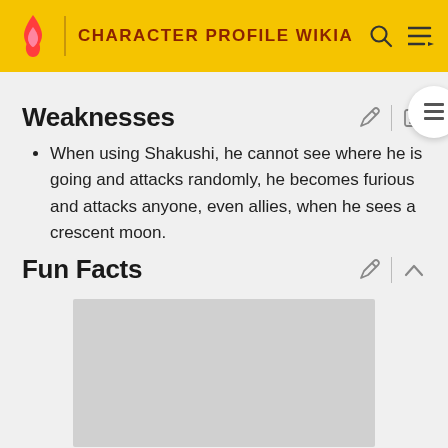CHARACTER PROFILE WIKIA
Weaknesses
When using Shakushi, he cannot see where he is going and attacks randomly, he becomes furious and attacks anyone, even allies, when he sees a crescent moon.
Fun Facts
[Figure (photo): Gray image placeholder in the Fun Facts section]